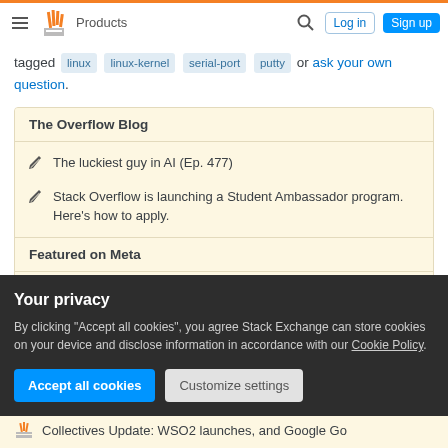Stack Overflow navigation bar with hamburger menu, logo, Products, search, Log in, Sign up
tagged linux linux-kernel serial-port putty or ask your own question.
The Overflow Blog
The luckiest guy in AI (Ep. 477)
Stack Overflow is launching a Student Ambassador program. Here's how to apply.
Featured on Meta
Please welcome Valued Associate #1301 – Emerson
Your privacy
By clicking "Accept all cookies", you agree Stack Exchange can store cookies on your device and disclose information in accordance with our Cookie Policy.
Accept all cookies   Customize settings
Collectives Update: WSO2 launches, and Google Go